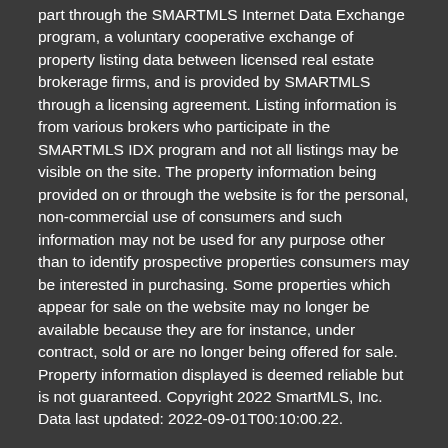part through the SMARTMLS Internet Data Exchange program, a voluntary cooperative exchange of property listing data between licensed real estate brokerage firms, and is provided by SMARTMLS through a licensing agreement. Listing information is from various brokers who participate in the SMARTMLS IDX program and not all listings may be visible on the site. The property information being provided on or through the website is for the personal, non-commercial use of consumers and such information may not be used for any purpose other than to identify prospective properties consumers may be interested in purchasing. Some properties which appear for sale on the website may no longer be available because they are for instance, under contract, sold or are no longer being offered for sale. Property information displayed is deemed reliable but is not guaranteed. Copyright 2022 SmartMLS, Inc. Data last updated: 2022-09-01T00:10:00.22.
BoomTown! © 2022
Terms of Use · Privacy Policy · Accessibility · DMCA
Take a Tour | Ask A Question